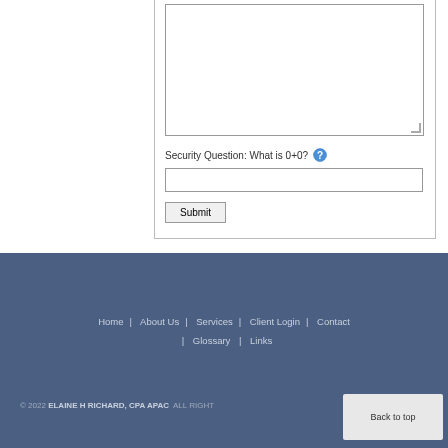[Figure (screenshot): Web form showing a textarea (message input box), a Security Question field labeled 'What is 0+0?' with a help icon, an answer text input, and a Submit button.]
Security Question: What is 0+0?
Home | About Us | Services | Client Login | Contact | Glossary | Links
© 2022 ELAINE H RICHARD, CPA APAC ALL RIGHTS RESERVED